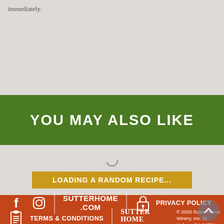immediately.
YOU MAY ALSO LIKE
LOADING A RANDOM RECIPE...
SUTTERHOME.COM
PRIVACY POLICY
TERMS & CONDITIONS
© 2020 Sutter Home Winery, Inc. St. Helena, CA 94574